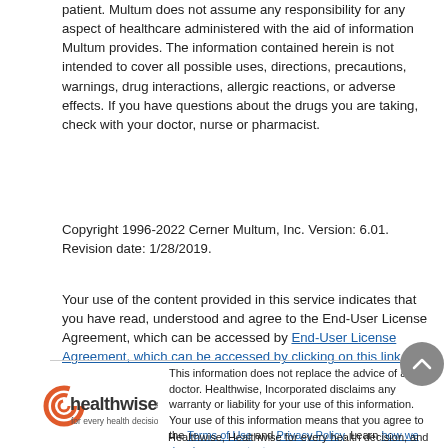patient. Multum does not assume any responsibility for any aspect of healthcare administered with the aid of information Multum provides. The information contained herein is not intended to cover all possible uses, directions, precautions, warnings, drug interactions, allergic reactions, or adverse effects. If you have questions about the drugs you are taking, check with your doctor, nurse or pharmacist.
Copyright 1996-2022 Cerner Multum, Inc. Version: 6.01. Revision date: 1/28/2019.
Your use of the content provided in this service indicates that you have read, understood and agree to the End-User License Agreement, which can be accessed by End-User License Agreement, which can be accessed by clicking on this link.
[Figure (logo): Healthwise logo with tagline 'for every health decision']
This information does not replace the advice of a doctor. Healthwise, Incorporated disclaims any warranty or liability for your use of this information. Your use of this information means that you agree to the Terms of Use and Privacy Policy. Learn how we develop our content.
Healthwise, Healthwise for every health decision, and the